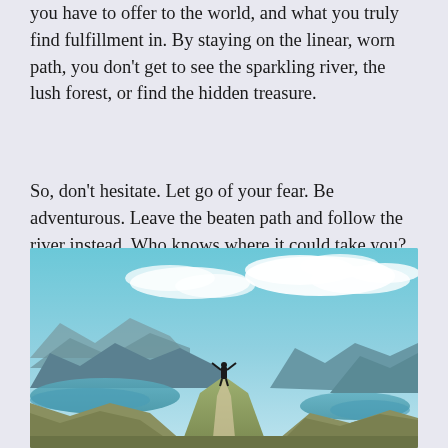you have to offer to the world, and what you truly find fulfillment in. By staying on the linear, worn path, you don't get to see the sparkling river, the lush forest, or find the hidden treasure.
So, don't hesitate. Let go of your fear. Be adventurous. Leave the beaten path and follow the river instead. Who knows where it could take you?
[Figure (photo): A person standing on a mountain peak with arms raised, overlooking a scenic landscape with mountains, lakes, and a blue sky with clouds.]